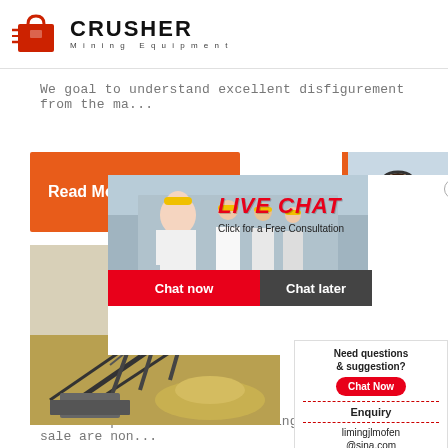[Figure (logo): CRUSHER Mining Equipment logo with red shopping bag icon and bold black text]
We goal to understand excellent disfigurement from the ma...
[Figure (illustration): Orange Read More button overlapping with live chat popup showing workers in hard hats, LIVE CHAT heading, Click for a Free Consultation text, Chat now and Chat later buttons, 24Hrs Online badge, and customer service representative photo on the right]
[Figure (photo): Mining machinery/conveyor equipment on sandy ground]
Plant
Concr
Block
Machi
[Figure (infographic): Need questions & suggestion? box with Chat Now oval button, Enquiry section, and limingjlmofen@sina.com email]
The main products of block making machine for sale are non...